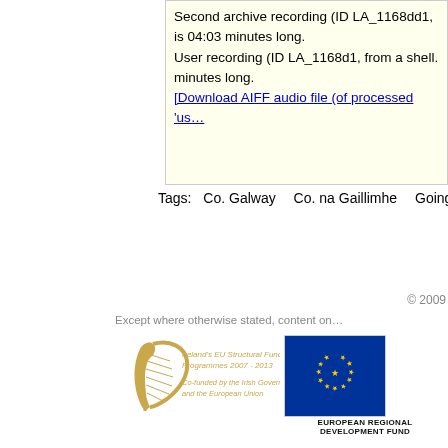Second archive recording (ID LA_1168dd1, is 04:03 minutes long. User recording (ID LA_1168d1, from a shell. minutes long.
[Download AIFF audio file (of processed 'us…
Tags:   Co. Galway   Co. na Gaillimhe   Going…
© 2009
Except where otherwise stated, content on…
[Figure (logo): Ireland's EU Structural Funds Programmes 2007-2013, Co-funded by the Irish Government and the European Union logo with harp]
[Figure (logo): European Regional Development Fund EU logo with stars]